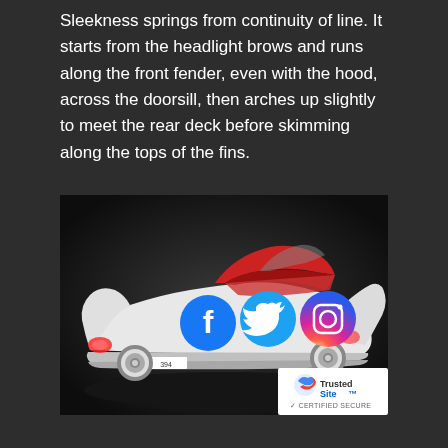Sleekness springs from continuity of line. It starts from the headlight brows and runs along the front fender, even with the hood, across the doorsill, then arches up slightly to meet the rear deck before skimming along the tops of the fins.
[Figure (photo): Classic white 1950s convertible car (rear three-quarter view) on a dark studio background, with social media icons (Facebook, Twitter, Instagram) overlaid on the car body, and a TrustedSite certified secure badge in the bottom-right corner.]